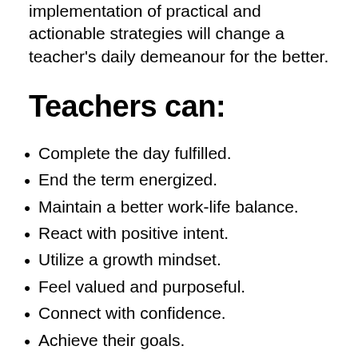implementation of practical and actionable strategies will change a teacher's daily demeanour for the better.
Teachers can:
Complete the day fulfilled.
End the term energized.
Maintain a better work-life balance.
React with positive intent.
Utilize a growth mindset.
Feel valued and purposeful.
Connect with confidence.
Achieve their goals.
Be the best version of themselves frequ…